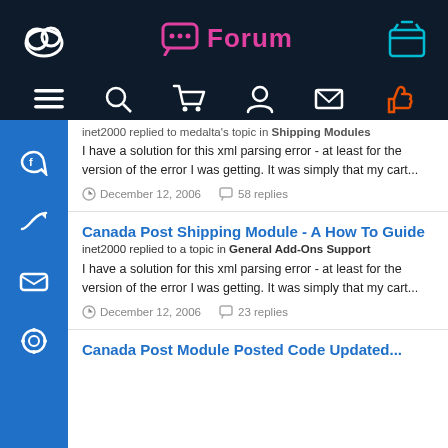Forum
inet2000 replied to medalta's topic in Shipping Modules
I have a solution for this xml parsing error - at least for the version of the error I was getting. It was simply that my cart...
December 12, 2006   58 replies
Canada Post Shipping Module - A How To Guide
inet2000 replied to a topic in General Add-Ons Support
I have a solution for this xml parsing error - at least for the version of the error I was getting. It was simply that my cart...
December 12, 2006   23 replies
Canada Post Module Posted Code Updated...